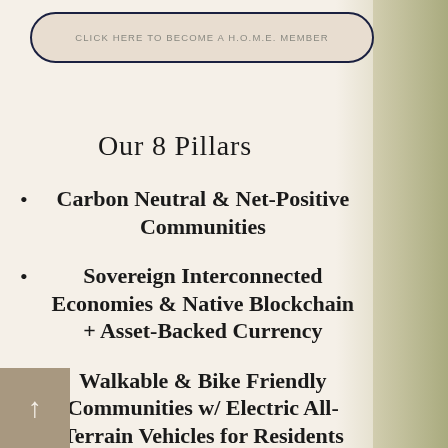CLICK HERE TO BECOME A H.O.M.E. MEMBER
Our 8 Pillars
Carbon Neutral & Net-Positive Communities
Sovereign Interconnected Economies & Native Blockchain + Asset-Backed Currency
Walkable & Bike Friendly Communities w/ Electric All-Terrain Vehicles for Residents